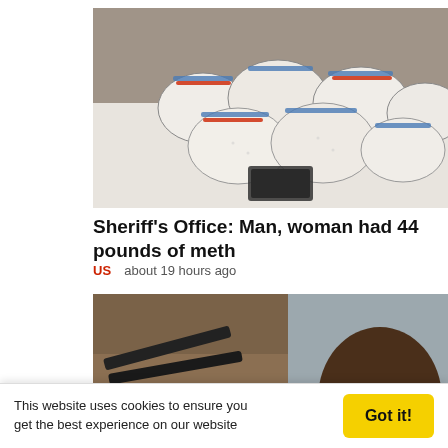[Figure (photo): Photo of multiple clear plastic bags filled with white crystalline substance (meth) arranged on a white surface, with a dark package in the center]
Sheriff's Office: Man, woman had 44 pounds of meth
US   about 19 hours ago
[Figure (photo): Left: photo of multiple rifles, magazines, ammunition, and a tactical vest spread on a table. Right: mugshot of a heavyset Black man with short hair and a beard against a gray background]
This website uses cookies to ensure you get the best experience on our website